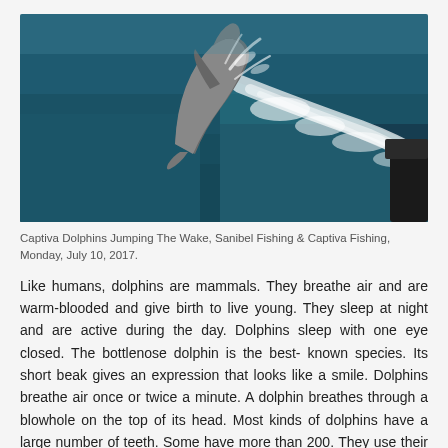[Figure (photo): A dolphin jumping out of the ocean wake beside a boat, with white foam and dark green-blue water visible. Sanibel/Captiva Fishing photo.]
Captiva Dolphins Jumping The Wake, Sanibel Fishing & Captiva Fishing, Monday, July 10, 2017.
Like humans, dolphins are mammals. They breathe air and are warm-blooded and give birth to live young. They sleep at night and are active during the day. Dolphins sleep with one eye closed. The bottlenose dolphin is the best- known species. Its short beak gives an expression that looks like a smile. Dolphins breathe air once or twice a minute. A dolphin breathes through a blowhole on the top of its head. Most kinds of dolphins have a large number of teeth. Some have more than 200. They use their teeth to grasp their prey.